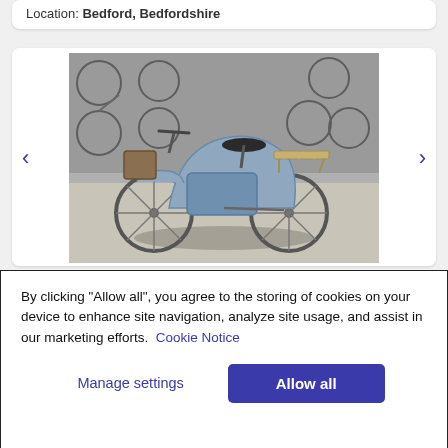Location: Bedford, Bedfordshire
[Figure (photo): Photo of a Euro Headnet electric moped scooter in a bicycle storage facility, shown from the side. The bike is light blue/grey with a rear rack, surrounded by many other bicycles in the background.]
4031  Euro Headnet electric moped scooter
Auction closed
By clicking "Allow all", you agree to the storing of cookies on your device to enhance site navigation, analyze site usage, and assist in our marketing efforts.  Cookie Notice
Manage settings
Allow all